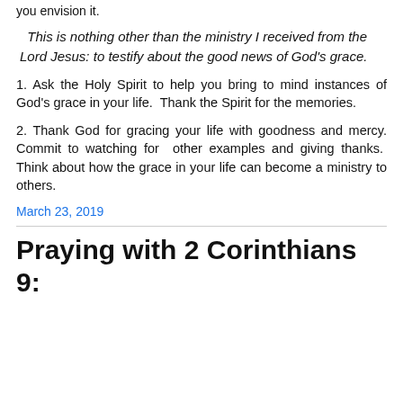you envision it.
This is nothing other than the ministry I received from the Lord Jesus: to testify about the good news of God’s grace.
1. Ask the Holy Spirit to help you bring to mind instances of God’s grace in your life.  Thank the Spirit for the memories.
2. Thank God for gracing your life with goodness and mercy. Commit to watching for  other examples and giving thanks.  Think about how the grace in your life can become a ministry to others.
March 23, 2019
Praying with 2 Corinthians 9: